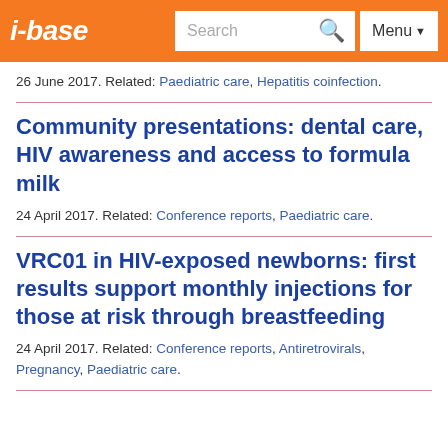i-base | Search | Menu
26 June 2017. Related: Paediatric care, Hepatitis coinfection.
Community presentations: dental care, HIV awareness and access to formula milk
24 April 2017. Related: Conference reports, Paediatric care.
VRC01 in HIV-exposed newborns: first results support monthly injections for those at risk through breastfeeding
24 April 2017. Related: Conference reports, Antiretrovirals, Pregnancy, Paediatric care.